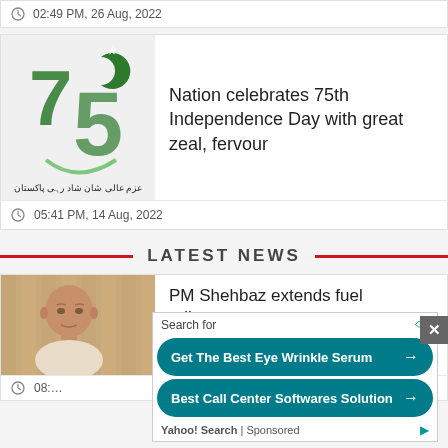02:49 PM, 26 Aug, 2022
[Figure (illustration): Pakistan 75th Independence logo with green crescent and star, text in Urdu below]
Nation celebrates 75th Independence Day with great zeal, fervour
05:41 PM, 14 Aug, 2022
LATEST NEWS
[Figure (photo): Photo of PM Shehbaz Sharif, bald man in light-colored clothing]
PM Shehbaz extends fuel adjustment
08:...
[Figure (infographic): Sponsored advertisement overlay: Search for eye wrinkle serum and call center softwares. Yahoo! Search sponsored ad with two teal buttons.]